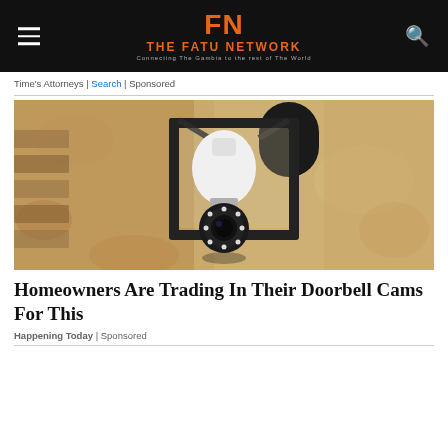THE FATU NETWORK — Connecting The Gambia to the rest of The World
Time's Attorneys | Search | Sponsored
[Figure (photo): A security camera disguised as a light bulb installed inside a black outdoor lantern wall fixture, mounted on a textured stucco wall]
Homeowners Are Trading In Their Doorbell Cams For This
Happening Today | Sponsored